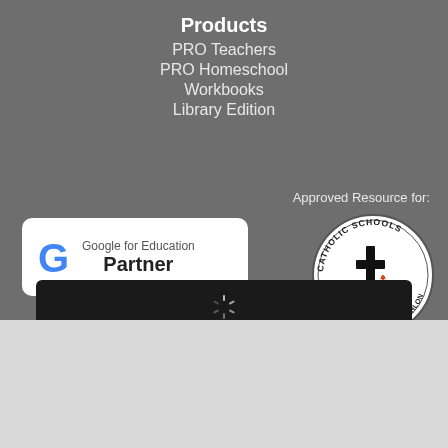Products
PRO Teachers
PRO Homeschool
Workbooks
Library Edition
Approved Resource for:
[Figure (logo): Google for Education Partner badge - white rounded rectangle with Google G logo and text]
[Figure (logo): Catholic Schools Academic Junior High Decathlon circular seal with cross and lamp]
[Figure (screenshot): Dark loading bar with spinner and 'Loading...' text]
[Figure (logo): Available in the Chrome Web Store badge with Chrome icon]
[Figure (logo): Available in the G Suite Marketplace badge with G Suite icon]
[Figure (logo): Get it from Microsoft badge - black background with Microsoft logo]
[Figure (logo): Clever logo in blue italic bold text]
[Figure (logo): Amazon Alexa logo with ring icon]